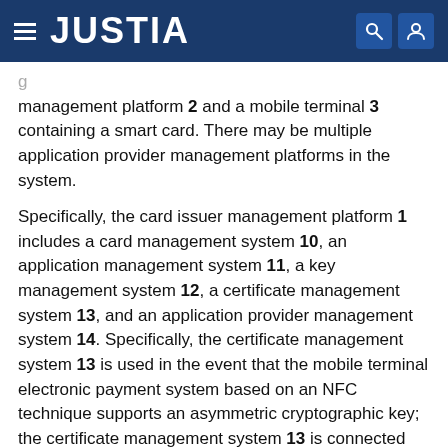JUSTIA
management platform 2 and a mobile terminal 3 containing a smart card. There may be multiple application provider management platforms in the system.
Specifically, the card issuer management platform 1 includes a card management system 10, an application management system 11, a key management system 12, a certificate management system 13, and an application provider management system 14. Specifically, the certificate management system 13 is used in the event that the mobile terminal electronic payment system based on an NFC technique supports an asymmetric cryptographic key; the certificate management system 13 is connected with a card issuer CA (Certificate Authority) system; the application management system 11 is responsible for providing and managing the